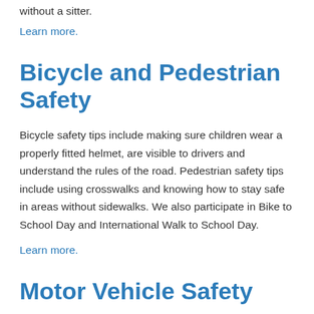without a sitter.
Learn more.
Bicycle and Pedestrian Safety
Bicycle safety tips include making sure children wear a properly fitted helmet, are visible to drivers and understand the rules of the road. Pedestrian safety tips include using crosswalks and knowing how to stay safe in areas without sidewalks. We also participate in Bike to School Day and International Walk to School Day.
Learn more.
Motor Vehicle Safety